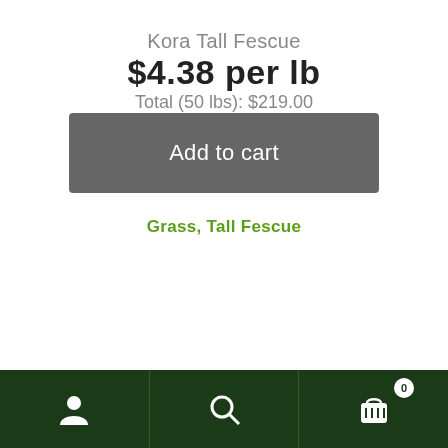Kora Tall Fescue
$4.38 per lb
Total (50 lbs): $219.00
Add to cart
Grass, Tall Fescue
[Figure (screenshot): Product card image showing green grass seed bag with white logo partially visible]
[Figure (infographic): Bottom navigation bar with person/account icon, search icon, and shopping cart icon with badge showing 0]